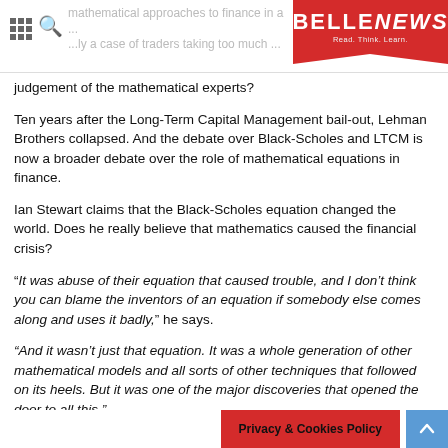BELLENEWS — Read. Think. Learn.
judgement of the mathematical experts?
Ten years after the Long-Term Capital Management bail-out, Lehman Brothers collapsed. And the debate over Black-Scholes and LTCM is now a broader debate over the role of mathematical equations in finance.
Ian Stewart claims that the Black-Scholes equation changed the world. Does he really believe that mathematics caused the financial crisis?
“It was abuse of their equation that caused trouble, and I don’t think you can blame the inventors of an equation if somebody else comes along and uses it badly,” he says.
“And it wasn’t just that equation. It was a whole generation of other mathematical models and all sorts of other techniques that followed on its heels. But it was one of the major discoveries that opened the door to all this.”